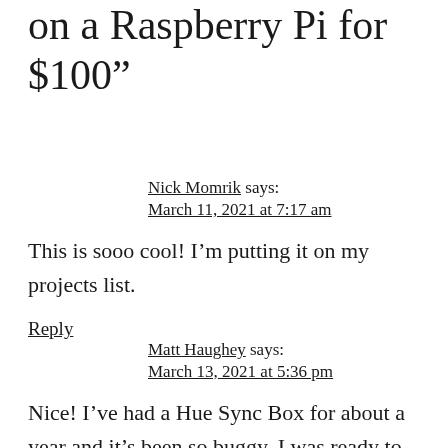on a Raspberry Pi for $100”
Nick Momrik says:
March 11, 2021 at 7:17 am
This is sooo cool! I’m putting it on my projects list.
Reply
Matt Haughey says:
March 13, 2021 at 5:36 pm
Nice! I’ve had a Hue Sync Box for about a year and it’s been so buggy, I was ready to